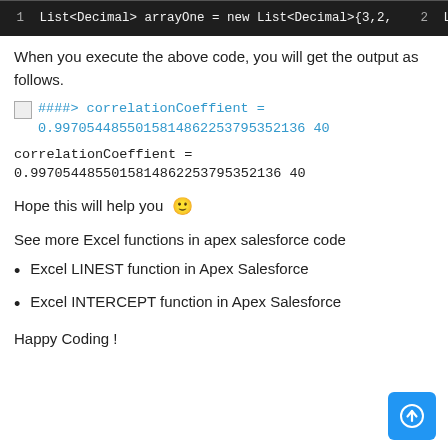[Figure (screenshot): Code block showing Apex Salesforce code with 5 lines: List<Decimal> arrayOne = new List<Decimal>{3,2,...}, List<Decimal> arrayTwo = new List<Decimal>{9,7,...}, Decimal correlationCoeffient = ExcelFormulaUtil..., // Use your class name instead of ExcelFormulaU..., System.debug('####>  correlationCoeffient = ' +]
When you execute the above code, you will get the output as follows.
####> correlationCoeffient = 0.9970544855015814862253795352136 40
correlationCoeffient = 0.9970544855015814862253795352136 40
Hope this will help you 🙂
See more Excel functions in apex salesforce code
Excel LINEST function in Apex Salesforce
Excel INTERCEPT function in Apex Salesforce
Happy Coding !